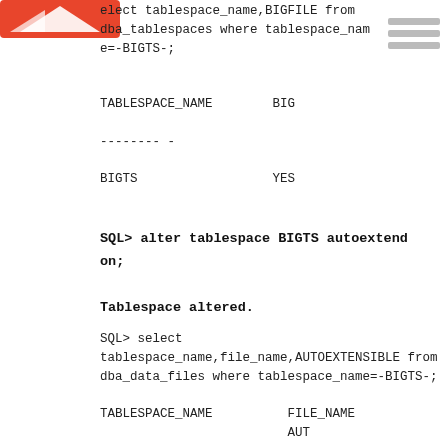[Figure (logo): Red and white triangular logo in top-left corner]
elect tablespace_name,BIGFILE from dba_tablespaces where tablespace_name=-BIGTS-;
TABLESPACE_NAME       BIG
-------- -
BIGTS                 YES
SQL> alter tablespace BIGTS autoextend on;
Tablespace altered.
SQL> select tablespace_name,file_name,AUTOEXTENSIBLE from dba_data_files where tablespace_name=-BIGTS-;
TABLESPACE_NAME          FILE_NAME
                         AUT
-------- ------------------------ -
BIGTS